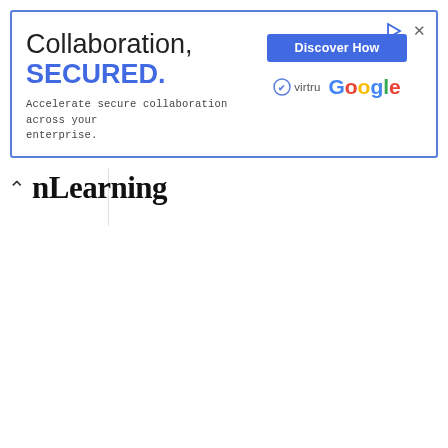[Figure (other): Advertisement banner with blue border. Headline reads 'Collaboration, SECURED.' with subtext 'Accelerate secure collaboration across your enterprise.' A blue 'Discover How' button on the right, with Virtru and Google logos.]
nLearning